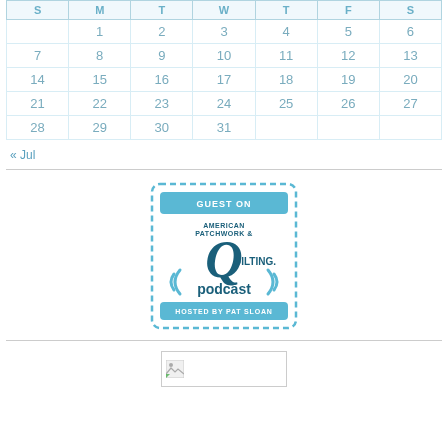| S | M | T | W | T | F | S |
| --- | --- | --- | --- | --- | --- | --- |
|  | 1 | 2 | 3 | 4 | 5 | 6 |
| 7 | 8 | 9 | 10 | 11 | 12 | 13 |
| 14 | 15 | 16 | 17 | 18 | 19 | 20 |
| 21 | 22 | 23 | 24 | 25 | 26 | 27 |
| 28 | 29 | 30 | 31 |  |  |  |
« Jul
[Figure (logo): Guest on American Patchwork & Quilting podcast hosted by Pat Sloan badge with dashed border]
[Figure (photo): Broken/missing image placeholder]